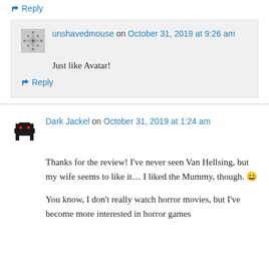↳ Reply
unshavedmouse on October 31, 2019 at 9:26 am

Just like Avatar!
↳ Reply
Dark Jackel on October 31, 2019 at 1:24 am
Thanks for the review! I've never seen Van Hellsing, but my wife seems to like it… I liked the Mummy, though. 😄
You know, I don't really watch horror movies, but I've become more interested in horror games